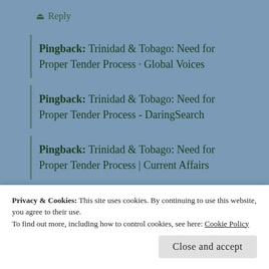↺ Reply
Pingback: Trinidad & Tobago: Need for Proper Tender Process · Global Voices
Pingback: Trinidad & Tobago: Need for Proper Tender Process - DaringSearch
Pingback: Trinidad & Tobago: Need for Proper Tender Process | Current Affairs
Privacy & Cookies: This site uses cookies. By continuing to use this website, you agree to their use.
To find out more, including how to control cookies, see here: Cookie Policy
Close and accept